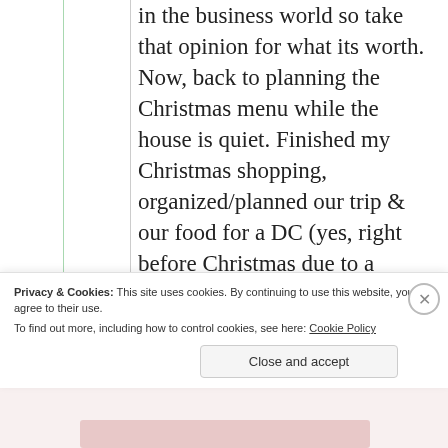in the business world so take that opinion for what its worth. Now, back to planning the Christmas menu while the house is quiet. Finished my Christmas shopping, organized/planned our trip & our food for a DC (yes, right before Christmas due to a family
Privacy & Cookies: This site uses cookies. By continuing to use this website, you agree to their use.
To find out more, including how to control cookies, see here: Cookie Policy